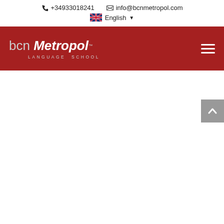📞 +34933018241   ✉ info@bcnmetropol.com   🇬🇧 English ▼
[Figure (logo): bcn Metropol Language School logo on dark red navigation bar with hamburger menu icon]